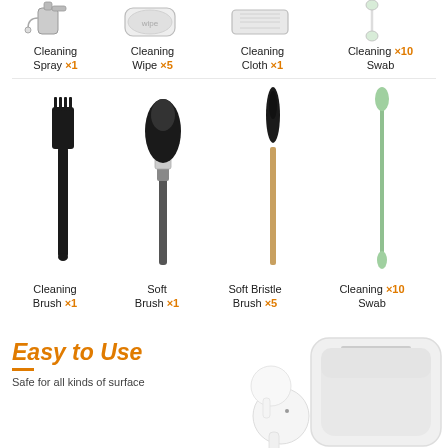[Figure (infographic): Product listing infographic showing cleaning kit items: Cleaning Spray x1, Cleaning Wipe x5, Cleaning Cloth x1, Cleaning Swab x10 in top row; Cleaning Brush x1, Soft Brush x1, Soft Bristle Brush x5, Cleaning Swab x10 in middle row; plus AirPods and charging case at bottom with Easy to Use text]
Cleaning Spray ×1
Cleaning Wipe ×5
Cleaning Cloth ×1
Cleaning Swab ×10
Cleaning Brush ×1
Soft Brush ×1
Soft Bristle Brush ×5
Cleaning Swab ×10
Easy to Use
Safe for all kinds of surface